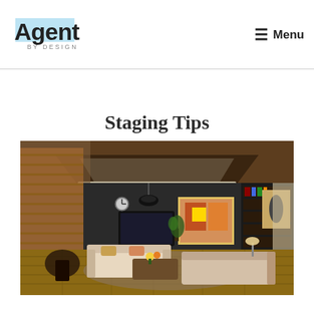Agent BY DESIGN | Menu
Staging Tips
[Figure (photo): Stylishly staged living room with warm wood tones, bamboo blinds, pendant lamp, colorful artwork, bookshelves, sofas, hardwood floor, and ceiling lighting.]